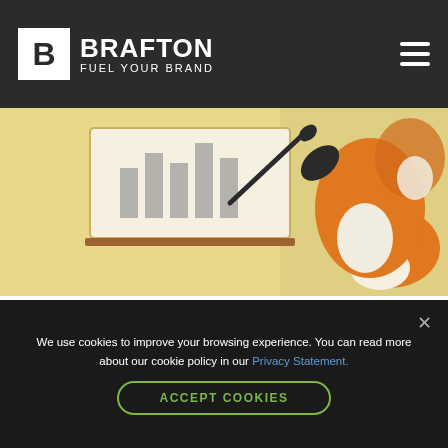BRAFTON FUEL YOUR BRAND
[Figure (illustration): Illustrated fox character holding a pointer stick next to a whiteboard with a bar chart, presented on a yellow background]
What Does A Content Marketing Consultant Do & How Do I Hire The Right One? (Infographic)
A content marketing consultant is well versed in the industry and understands what it takes to stand out from the competition and generate leads using everything from white papers to infographics.
We use cookies to improve your browsing experience. You can read more about our cookie policy in our Privacy Statement.